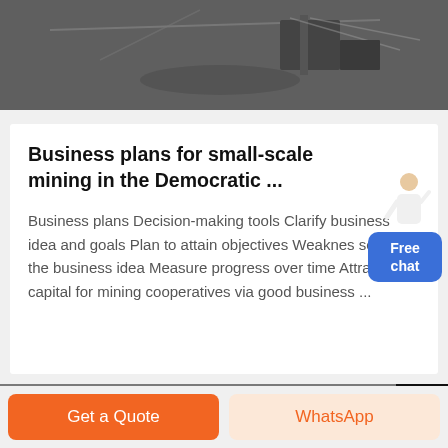[Figure (photo): Dark grayscale aerial or overhead photo of a mining site with equipment and cables visible]
Business plans for small-scale mining in the Democratic ...
Business plans Decision-making tools Clarify business idea and goals Plan to attain objectives Weaknes ses of the business idea Measure progress over time Attracting capital for mining cooperatives via good business ...
[Figure (illustration): Small illustration of a woman in white shirt with chat assistant pose next to a blue Free chat button]
Get a Quote
WhatsApp